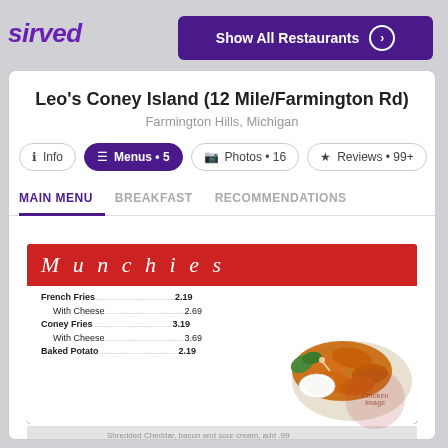sirved
Show All Restaurants
Leo's Coney Island (12 Mile/Farmington Rd)
Farmington Hills, Michigan
Info | Menus • 5 | Photos • 16 | Reviews • 99+
MAIN MENU | BREAKFAST | RECOMMENDATIONS
[Figure (photo): Menu page for Munchies section of Leo's Coney Island showing French Fries, Coney Fries, Baked Potato and other items with prices, alongside a photo of chicken wings with dipping sauce]